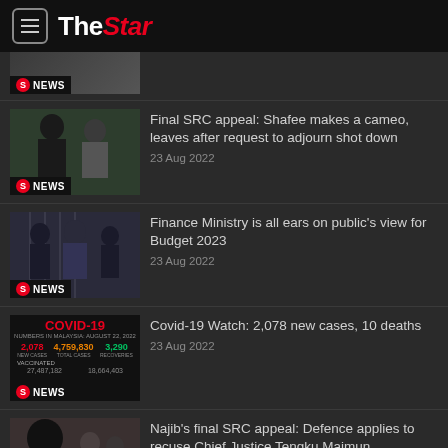The Star
[Figure (photo): Partial news thumbnail with NEWS badge]
[Figure (photo): Two men in legal/formal attire with NEWS badge]
Final SRC appeal: Shafee makes a cameo, leaves after request to adjourn shot down
23 Aug 2022
[Figure (photo): Men in masks at formal event with NEWS badge]
Finance Ministry is all ears on public's view for Budget 2023
23 Aug 2022
[Figure (infographic): COVID-19 statistics: 2,078 new cases, 4,759,830 total cases, 3,290 recoveries]
Covid-19 Watch: 2,078 new cases, 10 deaths
23 Aug 2022
[Figure (photo): Woman in black hijab with people behind, Malaysian flag visible, NEWS badge]
Najib's final SRC appeal: Defence applies to recuse Chief Justice Tengku Maimun
23 Aug 2022